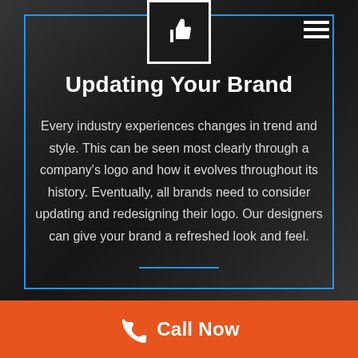[Figure (logo): Thumbs up icon in a white-bordered square box centered at the top of the dark section]
Updating Your Brand
Every industry experiences changes in trend and style. This can be seen most clearly through a company's logo and how it evolves throughout its history. Eventually, all brands need to consider updating and redesigning their logo. Our designers can give your brand a refreshed look and feel.
Call Now